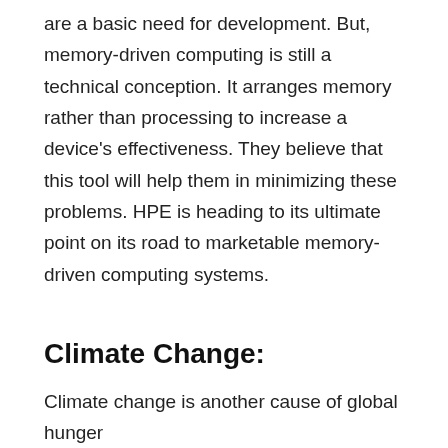are a basic need for development. But, memory-driven computing is still a technical conception. It arranges memory rather than processing to increase a device's effectiveness. They believe that this tool will help them in minimizing these problems. HPE is heading to its ultimate point on its road to marketable memory-driven computing systems.
Climate Change:
Climate change is another cause of global hunger